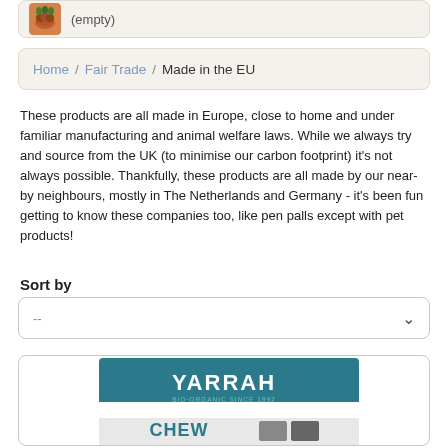[Figure (screenshot): Cart bar with food image and (empty) label]
Home / Fair Trade / Made in the EU
These products are all made in Europe, close to home and under familiar manufacturing and animal welfare laws. While we always try and source from the UK (to minimise our carbon footprint) it's not always possible. Thankfully, these products are all made by our near-by neighbours, mostly in The Netherlands and Germany - it's been fun getting to know these companies too, like pen palls except with pet products!
Sort by
[Figure (screenshot): Sort by dropdown selector with '--' placeholder and chevron]
[Figure (photo): Yarrah Bio-Organic Chew product package - white and teal bag with YARRAH branding]